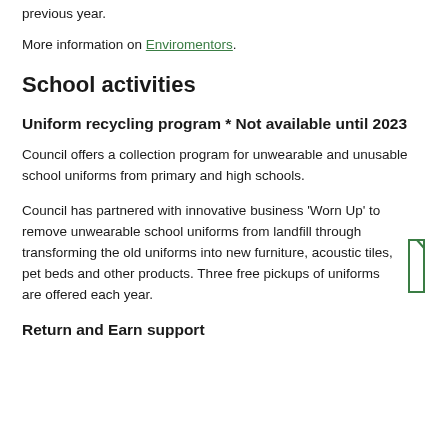previous year.
More information on Enviromentors.
School activities
Uniform recycling program * Not available until 2023
Council offers a collection program for unwearable and unusable school uniforms from primary and high schools.
Council has partnered with innovative business 'Worn Up' to remove unwearable school uniforms from landfill through transforming the old uniforms into new furniture, acoustic tiles, pet beds and other products. Three free pickups of uniforms are offered each year.
Return and Earn support